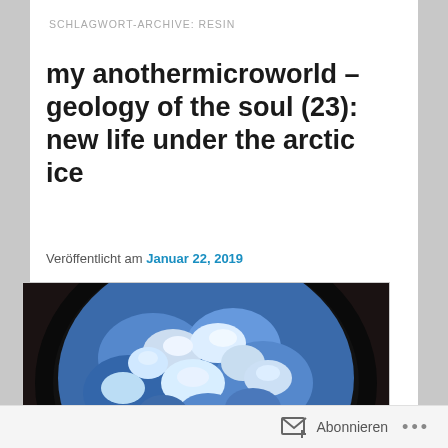SCHLAGWORT-ARCHIVE: RESIN
my anothermicroworld – geology of the soul (23): new life under the arctic ice
Veröffentlicht am Januar 22, 2019
[Figure (photo): Close-up photo of blue and white crystalline or mineral formations arranged in a circular petri dish on a dark background. The formations appear fluffy and bumpy, colored in shades of blue and white.]
Abonnieren ...